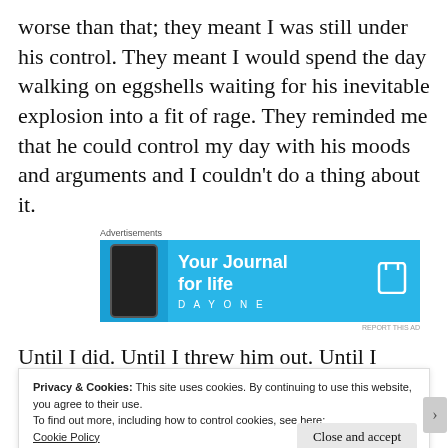worse than that; they meant I was still under his control. They meant I would spend the day walking on eggshells waiting for his inevitable explosion into a fit of rage. They reminded me that he could control my day with his moods and arguments and I couldn't do a thing about it.
[Figure (screenshot): Advertisement banner for Day One - 'Your Journal for life' app, showing a phone mockup on blue background with Day One logo and text.]
Until I did. Until I threw him out. Until I found the
Privacy & Cookies: This site uses cookies. By continuing to use this website, you agree to their use.
To find out more, including how to control cookies, see here:
Cookie Policy
Close and accept